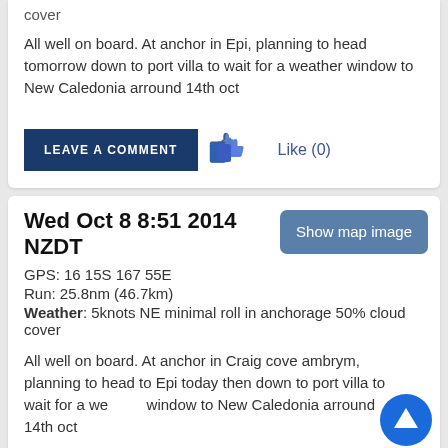cover
All well on board. At anchor in Epi, planning to head tomorrow down to port villa to wait for a weather window to New Caledonia arround 14th oct
LEAVE A COMMENT   Like (0)
Wed Oct 8 8:51 2014 NZDT
Show map image
GPS: 16 15S 167 55E
Run: 25.8nm (46.7km)
Weather: 5knots NE minimal roll in anchorage 50% cloud cover
All well on board. At anchor in Craig cove ambrym, planning to head to Epi today then down to port villa to wait for a weather window to New Caledonia arround 14th oct